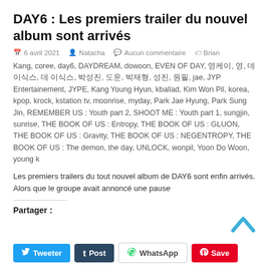DAY6 : Les premiers trailer du nouvel album sont arrivés
6 avril 2021  Natacha  Aucun commentaire  Brian Kang
Kang, coree, day6, DAYDREAM, dowoon, EVEN OF DAY, 영케이, 영, 데이식스, 데이식스, 박성진, 도운, 박재형, 성진, 원필, jae, JYP Entertainement, JYPE, Kang Young Hyun, kballad, Kim Won Pil, korea, kpop, krock, kstation tv, moonrise, myday, Park Jae Hyung, Park Sung Jin, REMEMBER US : Youth part 2, SHOOT ME : Youth part 1, sungjin, sunrise, THE BOOK OF US : Entropy, THE BOOK OF US : GLUON, THE BOOK OF US : Gravity, THE BOOK OF US : NEGENTROPY, THE BOOK OF US : The demon, the day, UNLOCK, wonpil, Yoon Do Woon, young k
Les premiers trailers du tout nouvel album de DAY6 sont enfin arrivés. Alors que le groupe avait annoncé une pause
Partager :